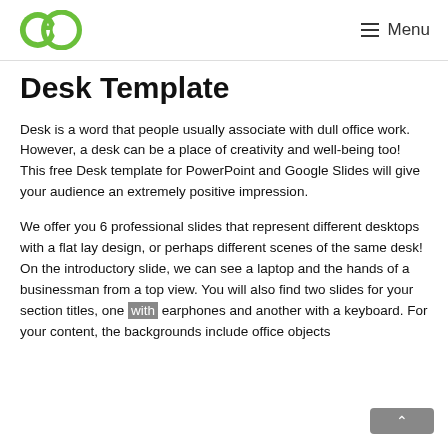GO  ≡ Menu
Desk Template
Desk is a word that people usually associate with dull office work. However, a desk can be a place of creativity and well-being too! This free Desk template for PowerPoint and Google Slides will give your audience an extremely positive impression.
We offer you 6 professional slides that represent different desktops with a flat lay design, or perhaps different scenes of the same desk! On the introductory slide, we can see a laptop and the hands of a businessman from a top view. You will also find two slides for your section titles, one with earphones and another with a keyboard. For your content, the backgrounds include office objects